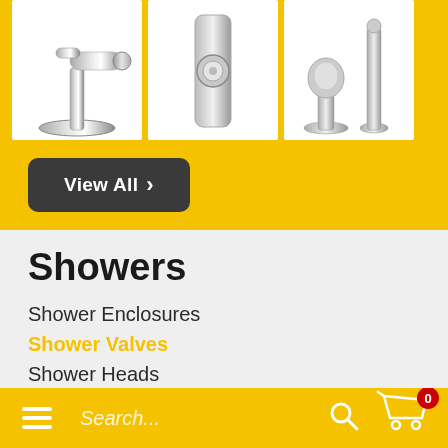[Figure (photo): Three chrome bathroom tap/valve fixtures displayed side by side on white backgrounds against a yellow banner]
View All >
Showers
Shower Enclosures
Shower Valves
Shower Heads
☰  Search...  🔍  🛒 0